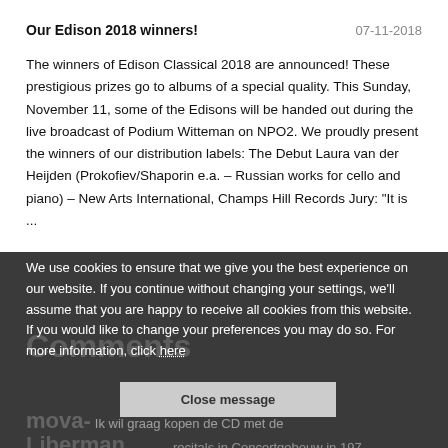Our Edison 2018 winners!
07-11-2018
The winners of Edison Classical 2018 are announced! These prestigious prizes go to albums of a special quality. This Sunday, November 11, some of the Edisons will be handed out during the live broadcast of Podium Witteman on NPO2. We proudly present the winners of our distribution labels: The Debut Laura van der Heijden (Prokofiev/Shaporin e.a. – Russian works for cello and piano) – New Arts International, Champs Hill Records Jury: "It is ...
We use cookies to ensure that we give you the best experience on our website. If you continue without changing your settings, we'll assume that you are happy to receive all cookies from this website. If you would like to change your preferences you may do so. For more information, click here
Comments
Close message
mova- Ik wil graag kopen de CD met de
Liberman recitals in Concertgebouw in 197